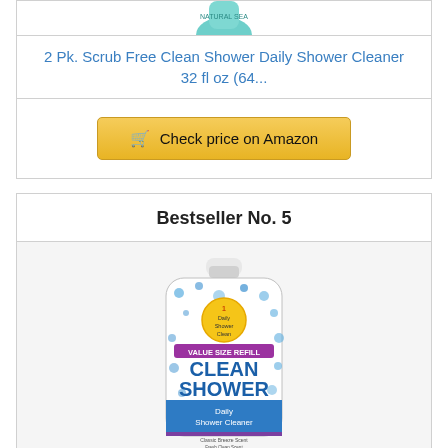[Figure (photo): Top portion of a teal/green cleaning product bottle, partially visible at top of card]
2 Pk. Scrub Free Clean Shower Daily Shower Cleaner 32 fl oz (64...
Check price on Amazon
Bestseller No. 5
[Figure (photo): Clean Shower Daily Shower Cleaner value size refill bottle with blue and white polka dot design, yellow '1 Daily Shower Clean' badge]